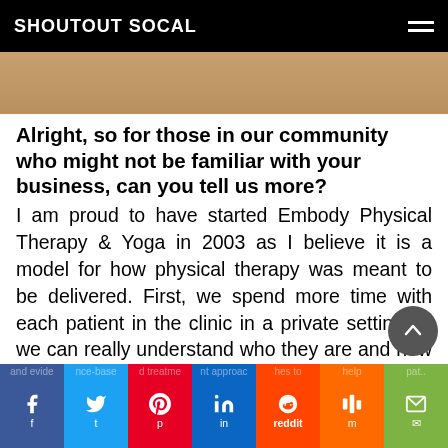SHOUTOUT SOCAL
[Figure (photo): Partial photo strip at the top of the article]
Alright, so for those in our community who might not be familiar with your business, can you tell us more?
I am proud to have started Embody Physical Therapy & Yoga in 2003 as I believe it is a model for how physical therapy was meant to be delivered. First, we spend more time with each patient in the clinic in a private setting so we can really understand who they are and how to best meet their personal needs. We also use the most sophisticated understanding of the body and evidence-based treatment approaches to help patients from...
[Figure (infographic): Social sharing bar with Facebook, Twitter, Pinterest, LinkedIn, Reddit, Mix, and Email buttons]